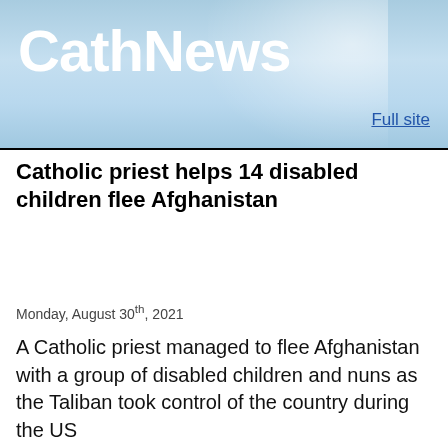[Figure (logo): CathNews logo banner with light blue gradient background and white radial highlight]
Catholic priest helps 14 disabled children flee Afghanistan
Monday, August 30th, 2021
A Catholic priest managed to flee Afghanistan with a group of disabled children and nuns as the Taliban took control of the country during the US